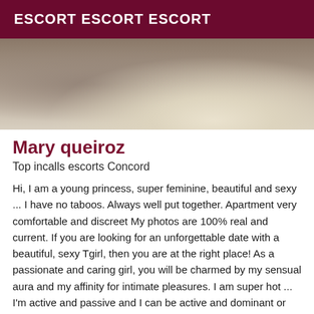ESCORT ESCORT ESCORT
[Figure (photo): Partial cropped photo showing a light-colored rounded surface against a grey textured background]
Mary queiroz
Top incalls escorts Concord
Hi, I am a young princess, super feminine, beautiful and sexy ... I have no taboos. Always well put together. Apartment very comfortable and discreet My photos are 100% real and current. If you are looking for an unforgettable date with a beautiful, sexy Tgirl, then you are at the right place! As a passionate and caring girl, you will be charmed by my sensual aura and my affinity for intimate pleasures. I am super hot ... I'm active and passive and I can be active and dominant or very passive ... to meet your expectations. I am 22 cm, very hard and fully functional to give you a good time with